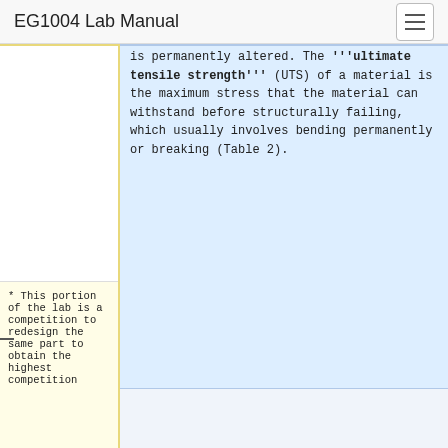EG1004 Lab Manual
is permanently altered. The '''ultimate tensile strength''' (UTS) of a material is the maximum stress that the material can withstand before structurally failing, which usually involves bending permanently or breaking (Table 2).
* This portion of the lab is a competition to redesign the same part to obtain the highest competition